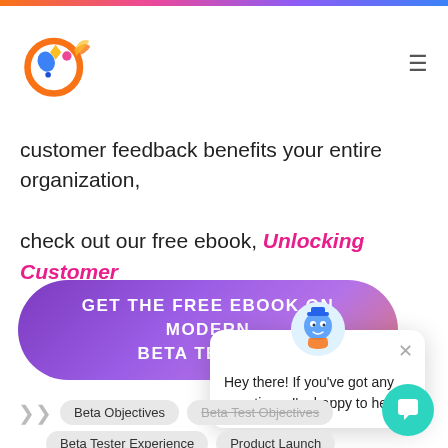[Figure (logo): Centercode logo – circular icon with orange ring, blue/yellow/red gem shapes, and colorful accents]
customer feedback benefits your entire organization, check out our free ebook, Unlocking Customer Feedback with Modern Beta Testing.
[Figure (other): Purple-to-pink gradient pill-shaped CTA button with text: GET THE FREE EBOOK ON MODERN BETA TESTING]
[Figure (other): Chat popup overlay with mascot icon and message: Hey there! If you've got any questions, I'm happy to help.]
Beta Objectives
Beta Test Objectives
Beta Tester Experience
Product Launch
Usability
User Experience